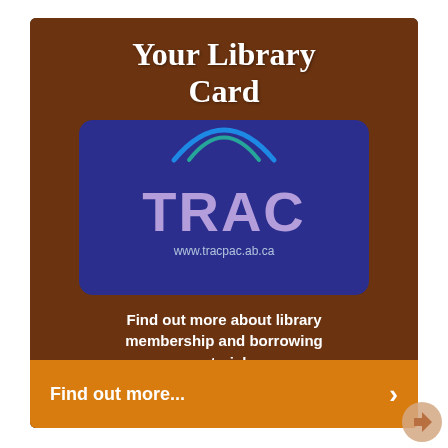Your Library Card
[Figure (photo): A blue TRAC library card with the logo and website www.tracpac.ab.ca displayed on a wooden surface background]
Find out more about library membership and borrowing materials.
Find out more...